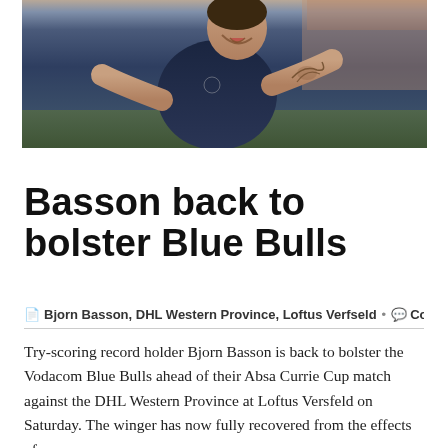[Figure (photo): A rugby player in a dark navy Blue Bulls jersey, muscular, with a tattoo on his right arm, crouching or running during training on a green field.]
Basson back to bolster Blue Bulls
Bjorn Basson, DHL Western Province, Loftus Verfseld • Comments
Try-scoring record holder Bjorn Basson is back to bolster the Vodacom Blue Bulls ahead of their Absa Currie Cup match against the DHL Western Province at Loftus Versfeld on Saturday. The winger has now fully recovered from the effects of